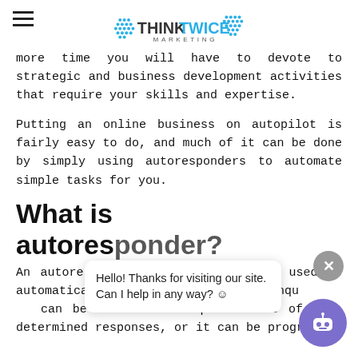ThinkTwice Marketing
more time you will have to devote to strategic and business development activities that require your skills and expertise.
Putting an online business on autopilot is fairly easy to do, and much of it can be done by simply using autoresponders to automate simple tasks for you.
What is an autoresponder?
An autoresponder is software that's used to automatically respond to customer enquiries. It can be used to set up a series of pre-determined responses, or it can be programmed